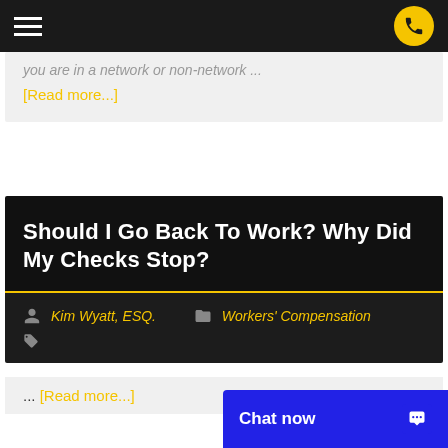Navigation header with hamburger menu and phone button
you are in a network or non-network ...
[Read more...]
Should I Go Back To Work? Why Did My Checks Stop?
Kim Wyatt, ESQ.   Workers' Compensation
... [Read more...]
Chat now